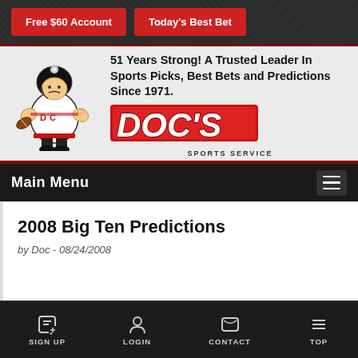[Figure (screenshot): Top navigation bar with two red buttons: 'Free $60 Account' and 'Today's Best Bet' on a dark textured background]
[Figure (logo): Doc's Sports Service banner with football mascot character and tagline '51 Years Strong! A Trusted Leader In Sports Picks, Best Bets and Predictions Since 1971.' with large DOC'S logo in red and SPORTS SERVICE subtitle]
Main Menu
2008 Big Ten Predictions
by Doc - 08/24/2008
SIGN UP   LOGIN   CONTACT   TOP